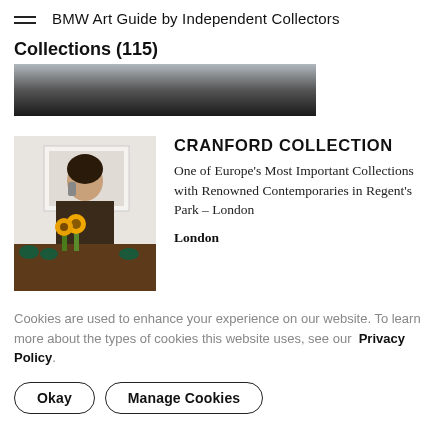BMW Art Guide by Independent Collectors
Collections (115)
[Figure (photo): Dark blurred image strip at top of collection list]
[Figure (photo): Photo of a woman on the phone in a room with sunflowers and art on the wall]
CRANFORD COLLECTION
One of Europe’s Most Important Collections with Renowned Contemporaries in Regent’s Park – London
London
Cookies are used to enhance your experience on our website. To learn more about the types of cookies this website uses, see our Privacy Policy.
Okay
Manage Cookies